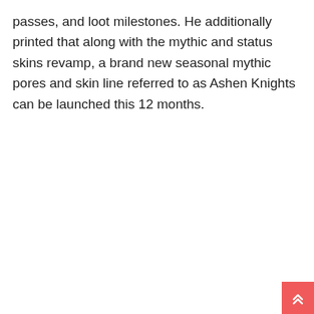passes, and loot milestones. He additionally printed that along with the mythic and status skins revamp, a brand new seasonal mythic pores and skin line referred to as Ashen Knights can be launched this 12 months.